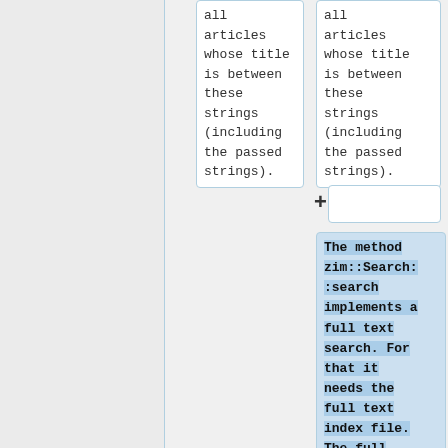all articles whose title is between these strings (including the passed strings).
all articles whose title is between these strings (including the passed strings).
The method zim::Search::search implements a full text search. For that it needs the full text index file. The full